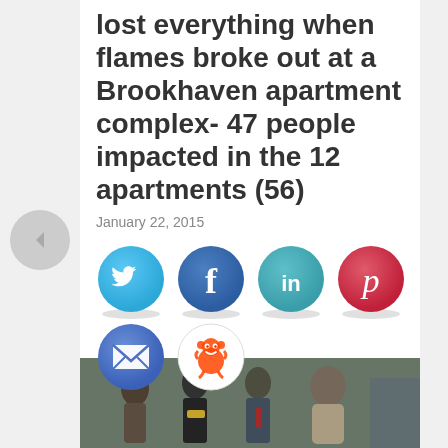lost everything when flames broke out at a Brookhaven apartment complex- 47 people impacted in the 12 apartments (56)
January 22, 2015
[Figure (infographic): Social media share icons: Twitter (blue bird), Facebook (dark blue f), LinkedIn (teal in), Pinterest (red p), Email (blue envelope), Reddit (alien mascot)]
[Figure (photo): Photo of several people, appears to show a group of adults in conversation or greeting]